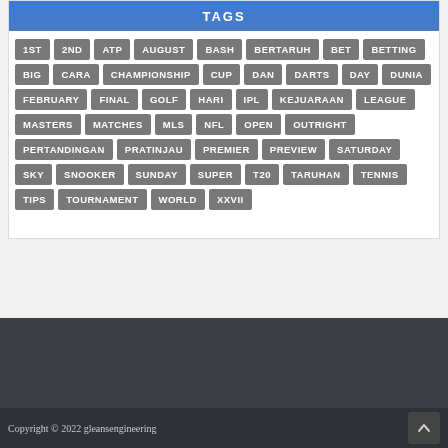TAGS
1ST
2ND
ATP
AUGUST
BASH
BERTARUH
BET
BETTING
BIG
CARA
CHAMPIONSHIP
CUP
DAN
DARTS
DAY
DUNIA
FEBRUARY
FINAL
GOLF
HARI
IPL
KEJUARAAN
LEAGUE
MASTERS
MATCHES
MLS
NFL
OPEN
OUTRIGHT
PERTANDINGAN
PRATINJAU
PREMIER
PREVIEW
SATURDAY
SKY
SNOOKER
SUNDAY
SUPER
T20
TARUHAN
TENNIS
TIPS
TOURNAMENT
WORLD
XXVII
Copyright © 2022 gleansengineering